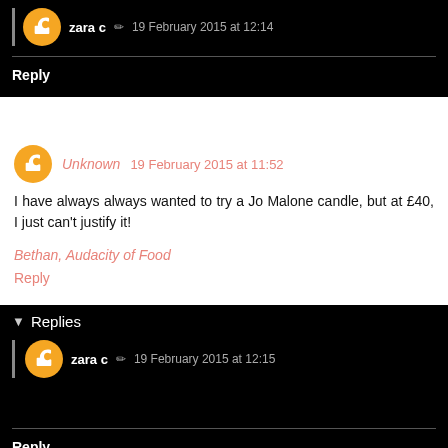zara c  19 February 2015 at 12:14
Reply
Unknown  19 February 2015 at 11:52
I have always always wanted to try a Jo Malone candle, but at £40, I just can't justify it!
Bethan, Audacity of Food
Reply
Replies
zara c  19 February 2015 at 12:15
Reply